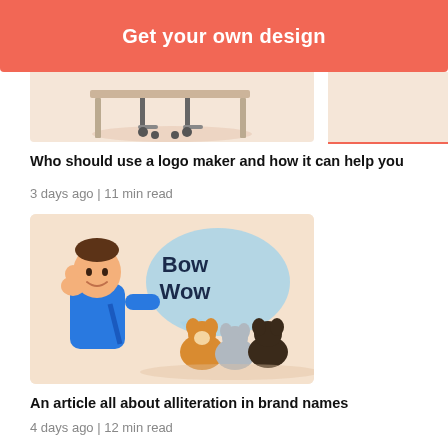Get your own design
[Figure (illustration): Partial thumbnail showing bottom portion of a logo maker article illustration with pink background, desk/chair elements]
Who should use a logo maker and how it can help you
3 days ago | 11 min read
[Figure (illustration): Illustration of a man in a blue shirt listening with hand to ear, with a speech bubble saying 'Bow Wow', and cartoon dogs in front including orange, white/black, and dark brown dogs, on a peach background]
An article all about alliteration in brand names
4 days ago | 12 min read